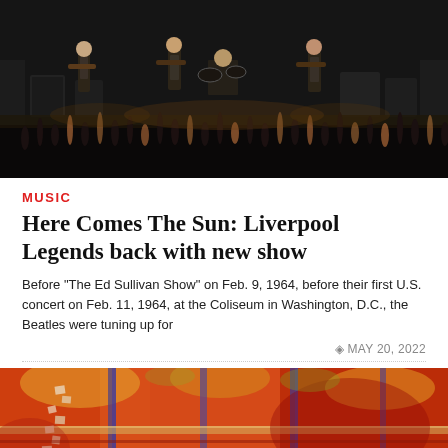[Figure (photo): Concert photo showing four musicians on a dark stage with instruments, audience with raised hands visible in the foreground.]
MUSIC
Here Comes The Sun: Liverpool Legends back with new show
Before “The Ed Sullivan Show” on Feb. 9, 1964, before their first U.S. concert on Feb. 11, 1964, at the Coliseum in Washington, D.C., the Beatles were tuning up for
MAY 20, 2022
[Figure (photo): Abstract painting with bright reds, oranges, yellows, and blue vertical streaks, with some white marks and horizontal bands.]